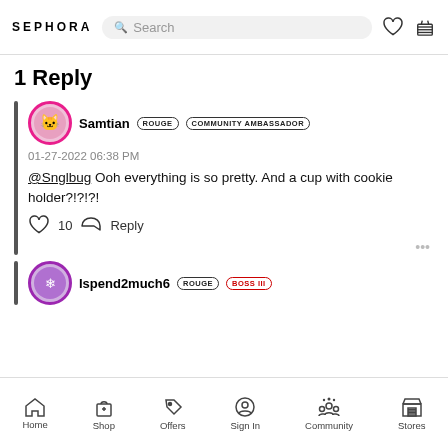SEPHORA  Search
1 Reply
Samtian  ROUGE  COMMUNITY AMBASSADOR
01-27-2022 06:38 PM
@Snglbug Ooh everything is so pretty. And a cup with cookie holder?!?!?!
10  Reply
Ispend2much6  ROUGE  BOSS III
Home  Shop  Offers  Sign In  Community  Stores